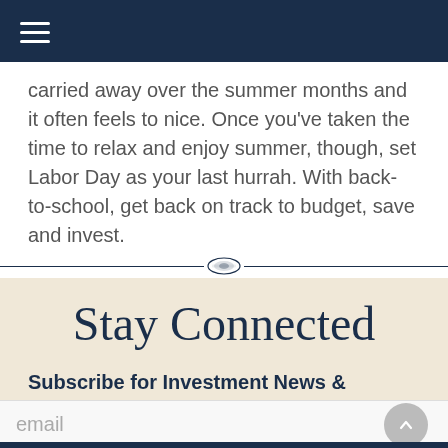[hamburger menu icon]
carried away over the summer months and it often feels to nice. Once you've taken the time to relax and enjoy summer, though, set Labor Day as your last hurrah. With back-to-school, get back on track to budget, save and invest.
Stay Connected
Subscribe for Investment News & Resources
email